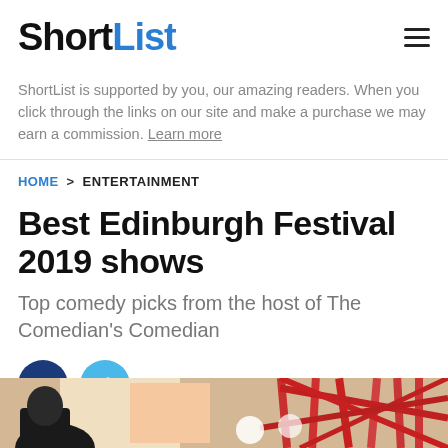ShortList
ShortList is supported by you, our amazing readers. When you click through the links on our site and make a purchase we may earn a commission. Learn more
HOME > ENTERTAINMENT
Best Edinburgh Festival 2019 shows
Top comedy picks from the host of The Comedian's Comedian
[Figure (screenshot): Social share buttons: Facebook (dark blue circle with f icon) and Twitter (light blue circle with bird icon)]
[Figure (photo): Bottom portion of an illustration/artwork showing colorful festival imagery with red structural elements and a dark silhouette figure at bottom left]